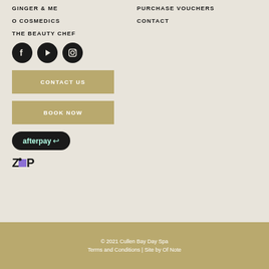GINGER & ME
O COSMEDICS
THE BEAUTY CHEF
PURCHASE VOUCHERS
CONTACT
[Figure (illustration): Three social media icons in dark circles: Facebook, YouTube, Instagram]
CONTACT US
BOOK NOW
[Figure (logo): Afterpay logo — white text on black rounded rectangle]
[Figure (logo): Zip logo — black Z, purple square, black P with dot]
© 2021 Cullen Bay Day Spa
Terms and Conditions | Site by Of Note